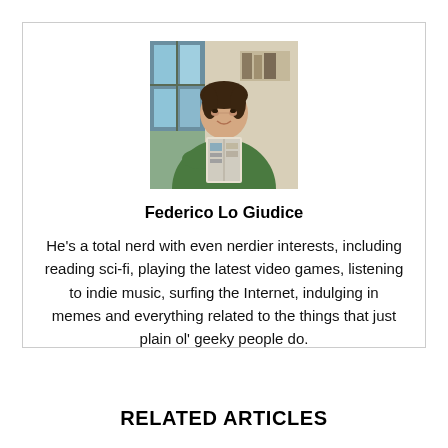[Figure (photo): Photo of Federico Lo Giudice, a man in a green shirt holding a book or magazine, standing indoors near a door with natural light.]
Federico Lo Giudice
He's a total nerd with even nerdier interests, including reading sci-fi, playing the latest video games, listening to indie music, surfing the Internet, indulging in memes and everything related to the things that just plain ol' geeky people do.
RELATED ARTICLES